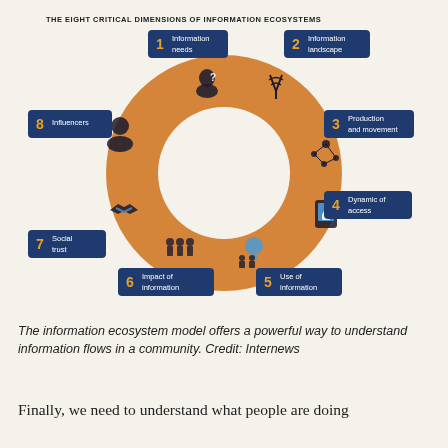[Figure (infographic): Circular infographic showing 'The Eight Critical Dimensions of Information Ecosystems' with an orange donut shape. Eight dark blue badge labels point outward: 1 Information needs (top left), 2 Information landscape (top right), 3 Production and movement (right), 4 Dynamic of access (lower right), 5 Use of information (bottom right), 6 Impact of information (bottom left), 7 Social trust (left), 8 Influencers (upper left). Icons inside the donut ring for each dimension.]
The information ecosystem model offers a powerful way to understand information flows in a community. Credit: Internews
Finally, we need to understand what people are doing